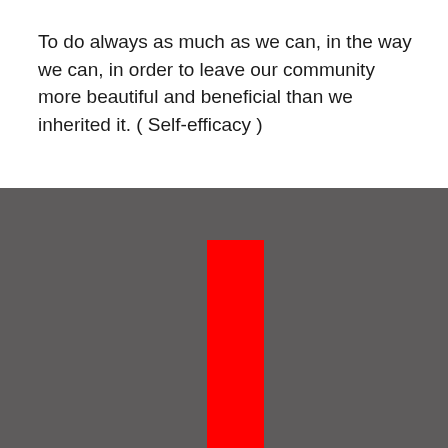To do always as much as we can, in the way we can, in order to leave our community more beautiful and beneficial than we inherited it. ( Self-efficacy )
[Figure (other): A tall red rectangle centered horizontally on a dark gray background]